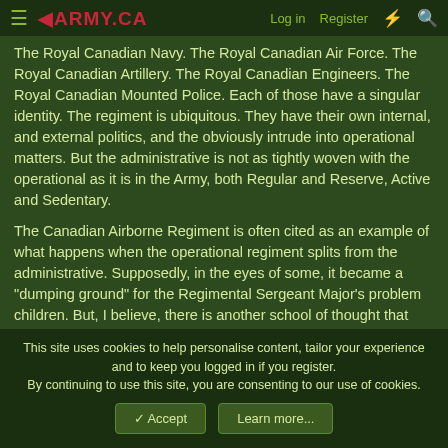◀ARMY.CA  Log in  Register
The Royal Canadian Navy. The Royal Canadian Air Force. The Royal Canadian Artillery. The Royal Canadian Engineers. The Royal Canadian Mounted Police. Each of those have a singular identity. The regiment is ubiquitous. They have their own internal, and external politics, and the obviously intrude into operational matters. But the administrative is not as tightly woven with the operational as it is in the Army, both Regular and Reserve, Active and Sedentary.
The Canadian Airborne Regiment is often cited as an example of what happens when the operational regiment splits from the administrative. Supposedly, in the eyes of some, it became a "dumping ground" for the Regimental Sergeant Major's problem children. But, I believe, there is another school of thought that traces the problems back to when each regular force infantry
This site uses cookies to help personalise content, tailor your experience and to keep you logged in if you register.
By continuing to use this site, you are consenting to our use of cookies.